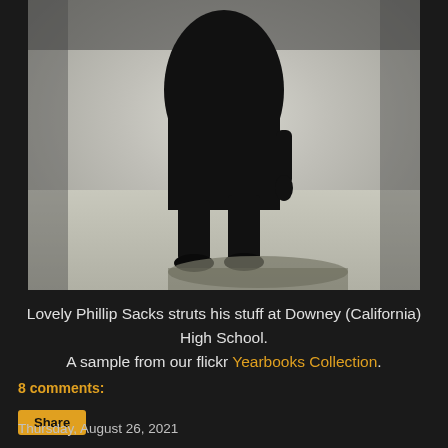[Figure (photo): Black and white / sepia-toned yearbook photo showing a silhouette of a person walking, shot from waist down, with a bright background creating a high-contrast shadow effect on a flat surface.]
Lovely Phillip Sacks struts his stuff at Downey (California) High School. A sample from our flickr Yearbooks Collection.
8 comments:
Share
Thursday, August 26, 2021